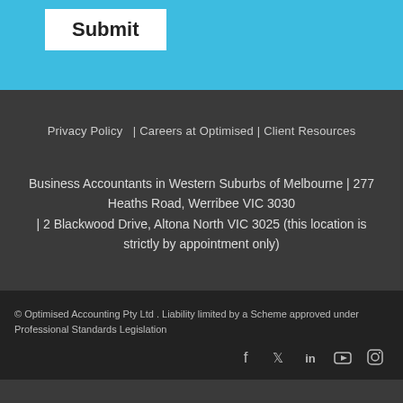[Figure (other): Blue banner area with a white Submit button]
Privacy Policy  | Careers at Optimised | Client Resources
Business Accountants in Western Suburbs of Melbourne | 277 Heaths Road, Werribee VIC 3030 | 2 Blackwood Drive, Altona North VIC 3025 (this location is strictly by appointment only)
© Optimised Accounting Pty Ltd . Liability limited by a Scheme approved under Professional Standards Legislation
[Figure (other): Social media icons: Facebook, Twitter, LinkedIn, YouTube, Instagram]